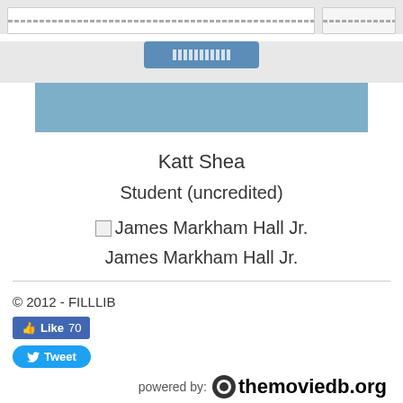[search bar with garbled text] [button with garbled text]
[Figure (screenshot): Blue submit button with garbled/encoded text label]
[Figure (illustration): Blue/steel colored banner rectangle]
Katt Shea
Student (uncredited)
[Figure (photo): Broken image icon followed by text: James Markham Hall Jr.]
James Markham Hall Jr.
© 2012 - FILLLIB  [Like 70 button]  [Tweet button]  powered by: themoviedb.org